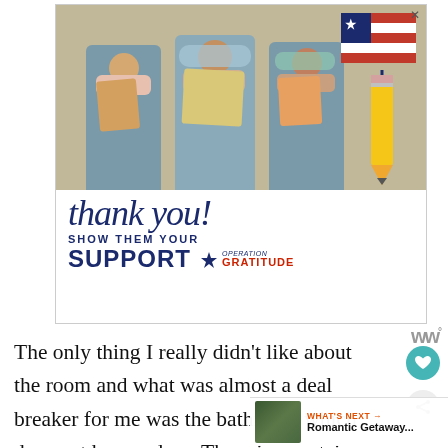[Figure (photo): Advertisement for Operation Gratitude showing three nurses/healthcare workers in scrubs and masks holding thank-you cards, with a large 'Thank you!' cursive text, a pencil graphic, a US flag graphic, and text reading 'SHOW THEM YOUR SUPPORT' with the Operation Gratitude logo.]
The only thing I really didn't like about the room and what was almost a deal breaker for me was the bathroom which does not have a door. There is a curtain you closed when you need privacy. My husband and I may have been together for the past 25